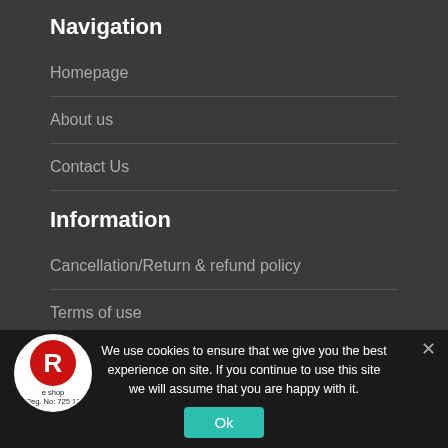Navigation
Homepage
About us
Contact Us
Information
Cancellation/Return & refund policy
Terms of use
We use cookies to ensure that we give you the best experience on site. If you continue to use this site we will assume that you are happy with it.
Ok